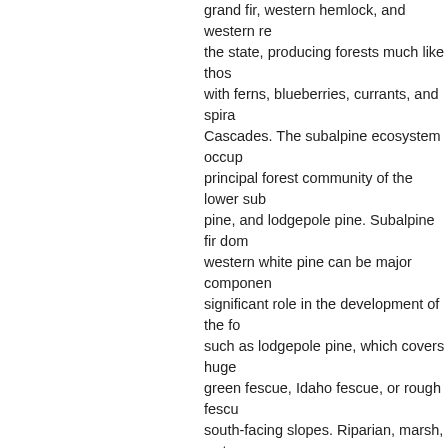grand fir, western hemlock, and western red cedar dominate across the state, producing forests much like those of the Coast Range with ferns, blueberries, currants, and spiraea throughout the Cascades. The subalpine ecosystem occurs above 4500 feet. The principal forest community of the lower subalpine is whitebark pine, and lodgepole pine. Subalpine fir dominates higher up; western white pine can be major components. Fire has played a significant role in the development of the forest, favoring species such as lodgepole pine, which covers huge areas. Dry sites have green fescue, Idaho fescue, or rough fescue grassland on south-facing slopes. Riparian, marsh, wet-m
Human Impact
Only a small part of the region has been converted, and natural habitats are largely intact. Development is clustered. Settlers have altered or eliminated riparian habitats and altered fire-prone forests. The Salmo-Priest Wilderness is in the region. Logging, as usual in forested regions, is the
Bird Checklist
C=Common; F=Fairly Com
| Bird | Jan | Fe |
| --- | --- | --- |
| Snow Goose |  |  |
| Ross's Goose |  |  |